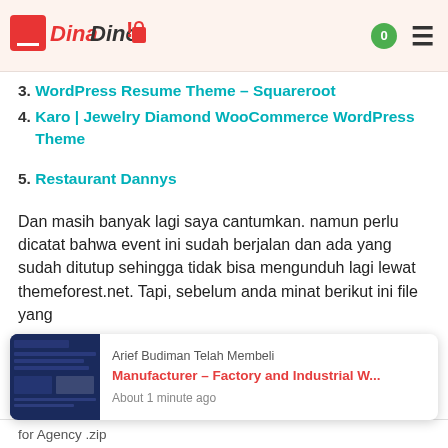DinaDino! [logo] 0 ≡
3. WordPress Resume Theme – Squareroot
4. Karo | Jewelry Diamond WooCommerce WordPress Theme
5. Restaurant Dannys
Dan masih banyak lagi saya cantumkan. namun perlu dicatat bahwa event ini sudah berjalan dan ada yang sudah ditutup sehingga tidak bisa mengunduh lagi lewat themeforest.net. Tapi, sebelum anda minat berikut ini file yang
[Figure (screenshot): Notification popup: Arief Budiman Telah Membeli — Manufacturer – Factory and Industrial W... — About 1 minute ago]
for Agency .zip